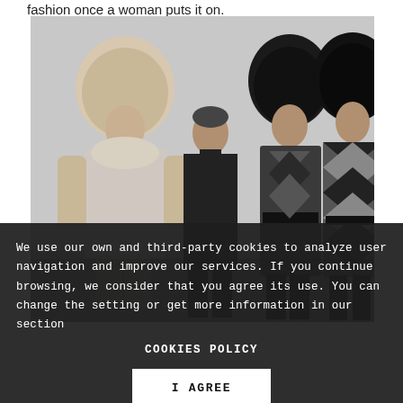fashion once a woman puts it on.
[Figure (photo): Black and white photograph of a fashion designer standing with three female models wearing fur hats and patterned coats.]
We use our own and third-party cookies to analyze user navigation and improve our services. If you continue browsing, we consider that you agree its use. You can change the setting or get more information in our section
COOKIES POLICY
I AGREE